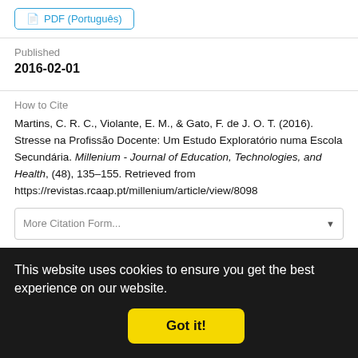PDF (Português)
Published
2016-02-01
How to Cite
Martins, C. R. C., Violante, E. M., & Gato, F. de J. O. T. (2016). Stresse na Profissão Docente: Um Estudo Exploratório numa Escola Secundária. Millenium - Journal of Education, Technologies, and Health, (48), 135–155. Retrieved from https://revistas.rcaap.pt/millenium/article/view/8098
This website uses cookies to ensure you get the best experience on our website.
Got it!
Section